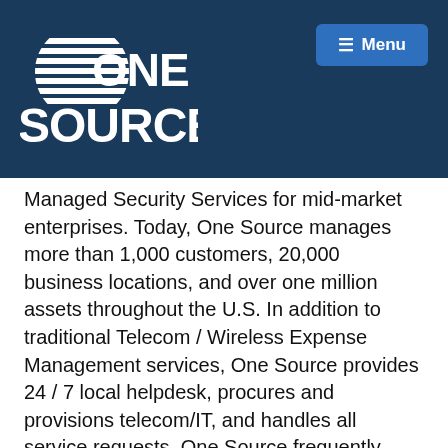[Figure (logo): One Source company logo — white text on dark navy blue background with horizontal striped globe/circle graphic]
Managed Security Services for mid-market enterprises. Today, One Source manages more than 1,000 customers, 20,000 business locations, and over one million assets throughout the U.S. In addition to traditional Telecom / Wireless Expense Management services, One Source provides 24 / 7 local helpdesk, procures and provisions telecom/IT, and handles all service requests. One Source frequently generates triple-digit ROI for customers through contract negotiation, portfolio optimization, and ongoing expense